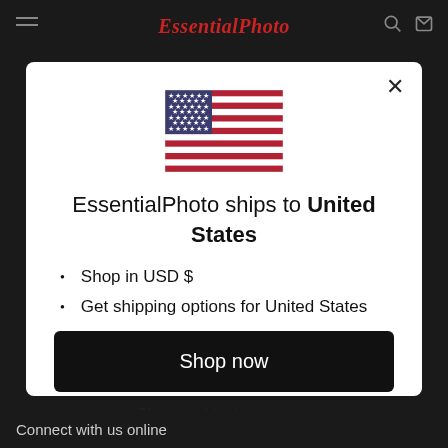EssentialPhoto
[Figure (illustration): US flag SVG illustration]
EssentialPhoto ships to United States
Shop in USD $
Get shipping options for United States
Shop now
Change shipping country
Connect with us online